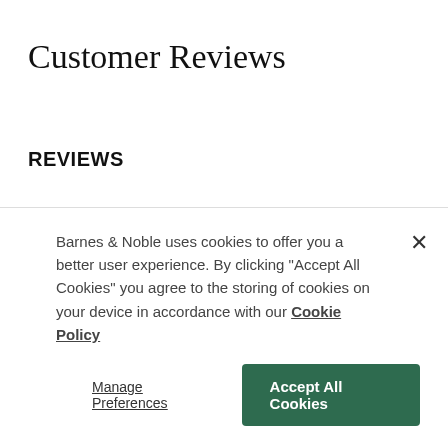Customer Reviews
REVIEWS
[Figure (other): Five empty star rating icons in light gray]
Click Here To Be The First To Review This Product
Barnes & Noble uses cookies to offer you a better user experience. By clicking "Accept All Cookies" you agree to the storing of cookies on your device in accordance with our Cookie Policy
Manage Preferences
Accept All Cookies